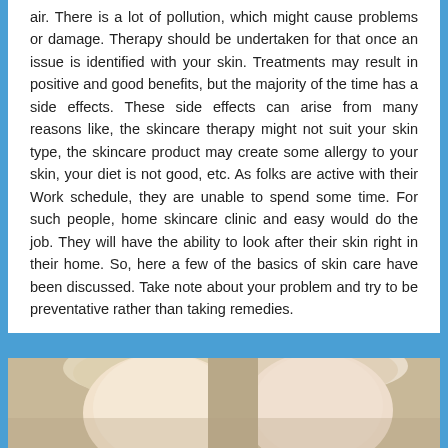air. There is a lot of pollution, which might cause problems or damage. Therapy should be undertaken for that once an issue is identified with your skin. Treatments may result in positive and good benefits, but the majority of the time has a side effects. These side effects can arise from many reasons like, the skincare therapy might not suit your skin type, the skincare product may create some allergy to your skin, your diet is not good, etc. As folks are active with their Work schedule, they are unable to spend some time. For such people, home skincare clinic and easy would do the job. They will have the ability to look after their skin right in their home. So, here a few of the basics of skin care have been discussed. Take note about your problem and try to be preventative rather than taking remedies.
[Figure (photo): Photo showing two people (faces visible from forehead/top of head), likely women with light/blonde hair, cropped at the bottom of the page.]